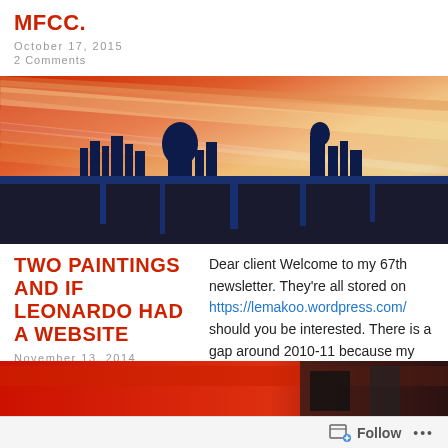MFCC.
October 17, 2015
2 Comments
[Figure (illustration): A painting showing a dark city silhouette on a rocky cliff against a dramatic warm red and orange streaked sky background]
TWO PAINTINGS AND IF LEONARDO HAD A WEBSITE
November 13, 2014
Leave a comment
Dear client Welcome to my 67th newsletter. They're all stored on https://lemakoo.wordpress.com/ should you be interested. There is a gap around 2010-11 because my site was hijacked by some German […]
[Figure (illustration): A painting with red and dark tones, partially visible at bottom of page]